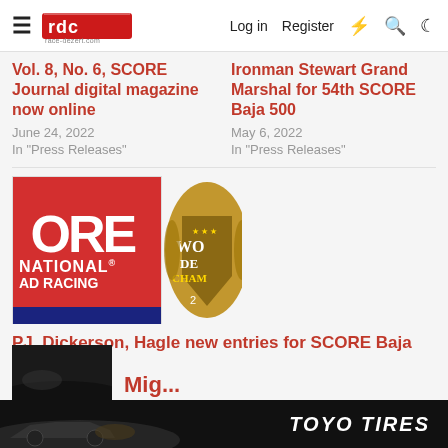race-dezert.com | Log in | Register
Vol. 8, No. 6, SCORE Journal digital magazine now online
June 24, 2022
In "Press Releases"
Ironman Stewart Grand Marshal for 54th SCORE Baja 500
May 6, 2022
In "Press Releases"
[Figure (logo): SCORE International Off-Road Racing logo with World Desert Championship badge]
PJ, Dickerson, Hagle new entries for SCORE Baja 500
May 16, 2022
In "Press Releases"
[Figure (photo): Partial thumbnail image of a racing vehicle, dark/nighttime photo]
TOYO TIRES